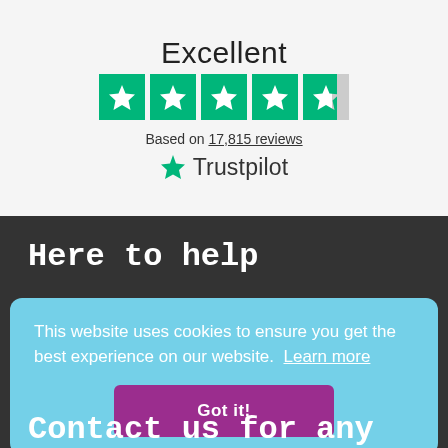Excellent
[Figure (other): Trustpilot 4.5 star rating with 5 green star boxes, last one half-filled]
Based on 17,815 reviews
[Figure (logo): Trustpilot logo with green star icon and Trustpilot text]
Here to help
This website uses cookies to ensure you get the best experience on our website. Learn more
Got it!
Contact us for any